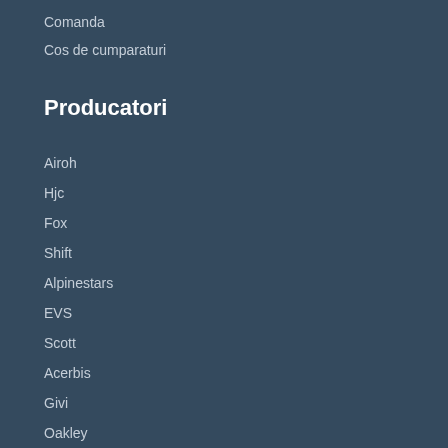Comanda
Cos de cumparaturi
Producatori
Airoh
Hjc
Fox
Shift
Alpinestars
EVS
Scott
Acerbis
Givi
Oakley